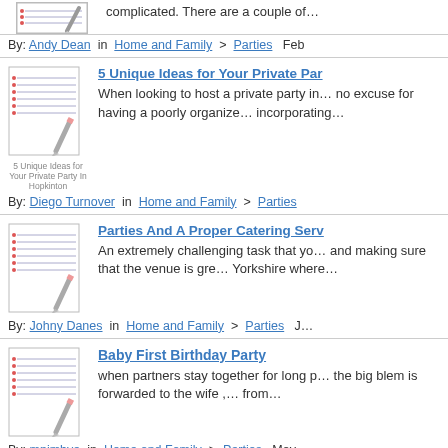complicated. There are a couple of…
By: Andy Dean in Home and Family > Parties  Feb
[Figure (illustration): Notepad with pencil icon for article thumbnail]
5 Unique Ideas for Your Private Par…
When looking to host a private party in… no excuse for having a poorly organize… incorporating…
By: Diego Turnover in Home and Family > Parties
[Figure (illustration): Notepad with pencil icon for article thumbnail]
Parties And A Proper Catering Serv…
An extremely challenging task that yo… and making sure that the venue is gre… Yorkshire where…
By: Johny Danes in Home and Family > Parties  J…
[Figure (illustration): Notepad with pencil icon for article thumbnail]
Baby First Birthday Party
when partners stay together for long p… the big blem is forwarded to the wife ,… from…
By: mpimbye in Home and Family > Parties  May